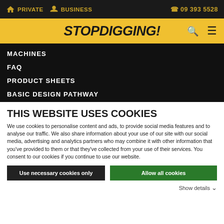PRIVATE   BUSINESS   09 393 5528
STOPDIGGING!
MACHINES
FAQ
PRODUCT SHEETS
BASIC DESIGN PATHWAY
THIS WEBSITE USES COOKIES
We use cookies to personalise content and ads, to provide social media features and to analyse our traffic. We also share information about your use of our site with our social media, advertising and analytics partners who may combine it with other information that you've provided to them or that they've collected from your use of their services. You consent to our cookies if you continue to use our website.
Use necessary cookies only
Allow all cookies
Show details